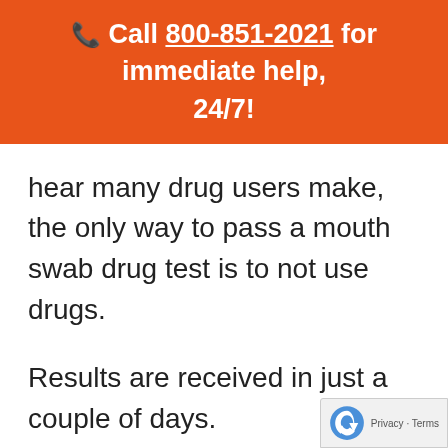☎ Call 800-851-2021 for immediate help, 24/7!
hear many drug users make, the only way to pass a mouth swab drug test is to not use drugs.
Results are received in just a couple of days.
Because it detects recent drug use, it is becoming a popular option for random…